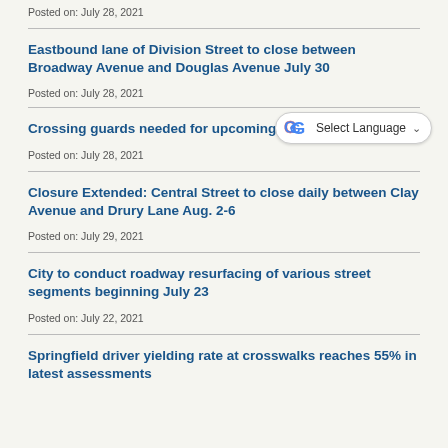Posted on: July 28, 2021
Eastbound lane of Division Street to close between Broadway Avenue and Douglas Avenue July 30
Posted on: July 28, 2021
Crossing guards needed for upcoming school year
Posted on: July 28, 2021
Closure Extended: Central Street to close daily between Clay Avenue and Drury Lane Aug. 2-6
Posted on: July 29, 2021
City to conduct roadway resurfacing of various street segments beginning July 23
Posted on: July 22, 2021
Springfield driver yielding rate at crosswalks reaches 55% in latest assessments